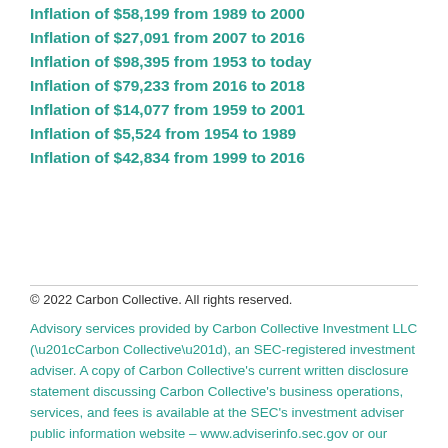Inflation of $58,199 from 1989 to 2000
Inflation of $27,091 from 2007 to 2016
Inflation of $98,395 from 1953 to today
Inflation of $79,233 from 2016 to 2018
Inflation of $14,077 from 1959 to 2001
Inflation of $5,524 from 1954 to 1989
Inflation of $42,834 from 1999 to 2016
© 2022 Carbon Collective. All rights reserved.
Advisory services provided by Carbon Collective Investment LLC (“Carbon Collective”), an SEC-registered investment adviser. A copy of Carbon Collective’s current written disclosure statement discussing Carbon Collective’s business operations, services, and fees is available at the SEC’s investment adviser public information website – www.adviserinfo.sec.gov or our legal documents here.